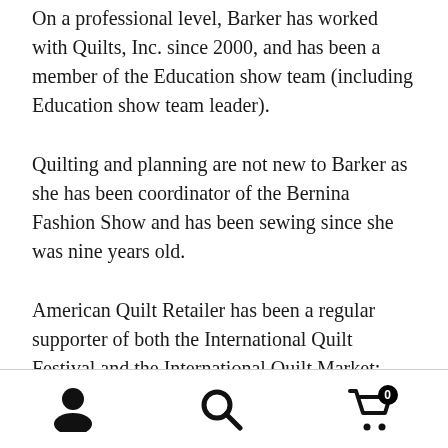On a professional level, Barker has worked with Quilts, Inc. since 2000, and has been a member of the Education show team (including Education show team leader).
Quilting and planning are not new to Barker as she has been coordinator of the Bernina Fashion Show and has been sewing since she was nine years old.
American Quilt Retailer has been a regular supporter of both the International Quilt Festival and the International Quilt Market; even having an education class at the last International Quilt
[user icon] [search icon] [cart icon with badge 0]